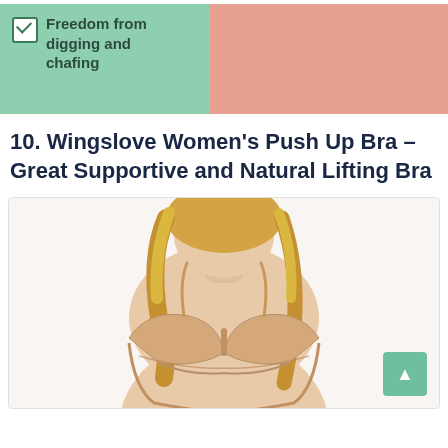Freedom from digging and chafing
10.  Wingslove Women's Push Up Bra –Great Supportive and Natural Lifting Bra
[Figure (photo): Woman wearing a nude push-up bra, blonde hair, smiling, product photo against white background. Green scroll-to-top button in bottom right corner.]